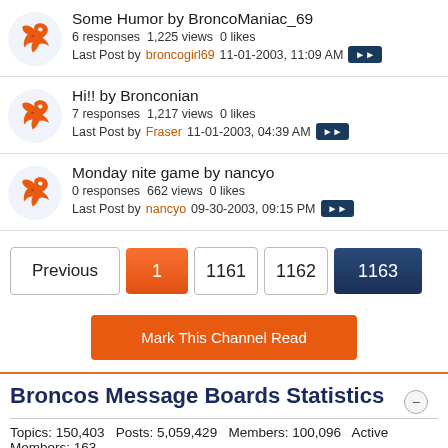Some Humor by BroncoManiac_69
6 responses 1,225 views 0 likes
Last Post by broncogirl69 11-01-2003, 11:09 AM
Hi!! by Bronconian
7 responses 1,217 views 0 likes
Last Post by Fraser 11-01-2003, 04:39 AM
Monday nite game by nancyo
0 responses 662 views 0 likes
Last Post by nancyo 09-30-2003, 09:15 PM
Previous  1  1161  1162  1163
Mark This Channel Read
Broncos Message Boards Statistics
Topics: 150,403   Posts: 5,059,429   Members: 100,096   Active Members: 163